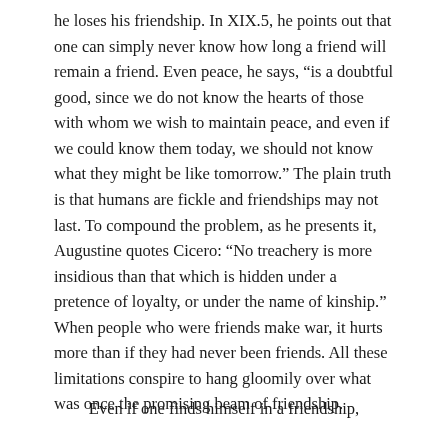he loses his friendship. In XIX.5, he points out that one can simply never know how long a friend will remain a friend. Even peace, he says, “is a doubtful good, since we do not know the hearts of those with whom we wish to maintain peace, and even if we could know them today, we should not know what they might be like tomorrow.” The plain truth is that humans are fickle and friendships may not last. To compound the problem, as he presents it, Augustine quotes Cicero: “No treachery is more insidious than that which is hidden under a pretence of loyalty, or under the name of kinship.” When people who were friends make war, it hurts more than if they had never been friends. All these limitations conspire to hang gloomily over what was once the promising beam of friendship.
Even if one finds himself in a friendship,